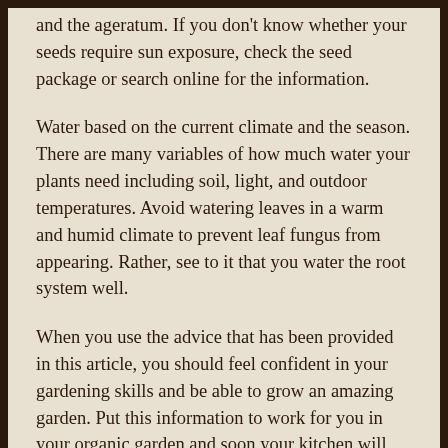and the ageratum. If you don't know whether your seeds require sun exposure, check the seed package or search online for the information.
Water based on the current climate and the season. There are many variables of how much water your plants need including soil, light, and outdoor temperatures. Avoid watering leaves in a warm and humid climate to prevent leaf fungus from appearing. Rather, see to it that you water the root system well.
When you use the advice that has been provided in this article, you should feel confident in your gardening skills and be able to grow an amazing garden. Put this information to work for you in your organic garden and soon your kitchen will have an abundance of fresh, all natural and delicious produce.